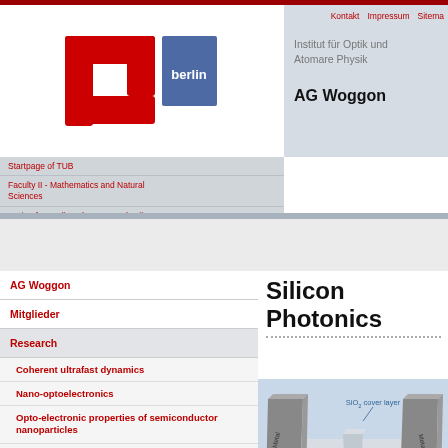[Figure (logo): TU Berlin logo - red stylized TU letters with 'berlin' text]
Kontakt  Impressum  Sitema...
Institut für Optik und
Atomaren Physik
AG Woggon
Startpage of TUB
Faculty II - Mathematics and Natural Sciences
Institut für Optik und Atomare Physik
AG Woggon
Mitglieder
Research
Coherent ultrafast dynamics
Nano-optoelectronics
Opto-electronic properties of semiconductor nanoparticles
Nonlinear plasmonics
Silicon photonics
Passive building blocks in SOI
Silicon Photonics
[Figure (engineering-diagram): 3D diagram of Silicon Photonics device cross-section showing SiO2 cover layer, Metal contacts, Waveguide, p+ and n- contact regions, SiO2 layer (BOX)]